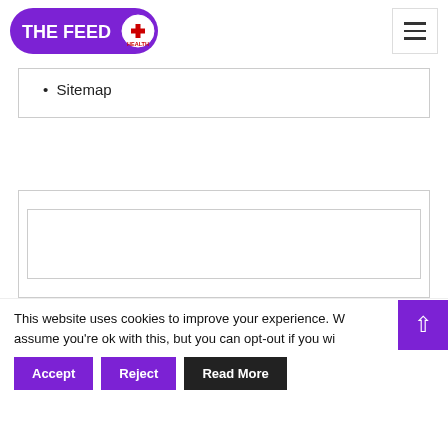THE FEED HEALTH
Sitemap
[Figure (other): Advertisement placeholder box with inner bordered rectangle]
This website uses cookies to improve your experience. We assume you're ok with this, but you can opt-out if you wi…
Accept | Reject | Read More